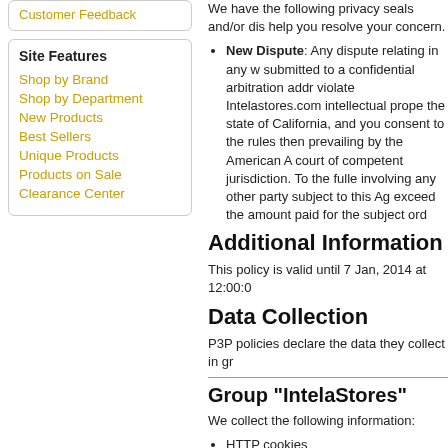Customer Feedback
Site Features
Shop by Brand
Shop by Department
New Products
Best Sellers
Unique Products
Products on Sale
Clearance Center
We have the following privacy seals and/or di... help you resolve your concern.
New Dispute: Any dispute relating in any w... submitted to a confidential arbitration addr... violate Intelastores.com intellectual prope... the state of California, and you consent to... the rules then prevailing by the American A... court of competent jurisdiction. To the fulle... involving any other party subject to this Ag... exceed the amount paid for the subject ord...
Additional Information
This policy is valid until 7 Jan, 2014 at 12:00:0...
Data Collection
P3P policies declare the data they collect in gr...
Group "IntelaStores"
We collect the following information:
HTTP cookies
Click-stream data
HTTP protocol elements
User's interaction with a page or resource
Search terms
Transaction history
Unique identifiers
Purchase information